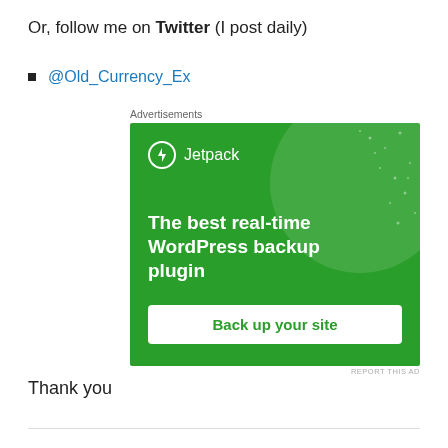Or, follow me on Twitter (I post daily)
@Old_Currency_Ex
[Figure (other): Jetpack advertisement banner with green background. Shows Jetpack logo and text 'The best real-time WordPress backup plugin' with a 'Back up your site' button.]
Thank you